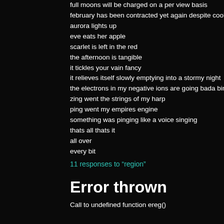full moons will be charged on a per view basis
february has been contracted yet again despite cooling
aurora lights up
eve eats her apple
scarlet is left in the red
the afternoon is tangible
it tickles your vain fancy
it relieves itself slowly emptying into a stormy night
the electrons in my negative ions are going bada bing b
zing went the strings of my harp
ping went my empires engine
something was pinging like a voice singing
thats all thats it
all over
every bit
11 responses to “region”
Error thrown
Call to undefined function ereg()